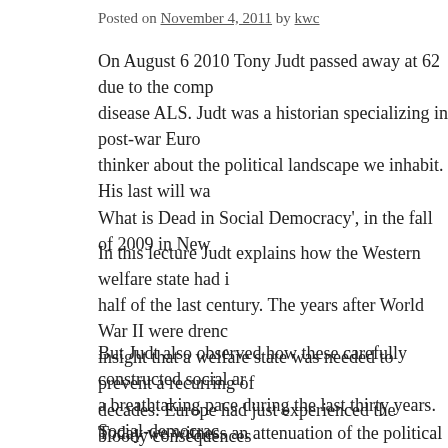Posted on November 4, 2011 by kwc
On August 6 2010 Tony Judt passed away at 62 due to the comp disease ALS. Judt was a historian specializing in post-war Euro thinker about the political landscape we inhabit. His last will wa What is Dead in Social Democracy', in the fall of 2009 in New
In this lecture Judt explains how the Western welfare state had i half of the last century. The years after World War II were drenc insight that a welfare state was needed to prevent a recurring of decades: Europe had just experienced the bloody consequences
But Judt also observed how these carefully constructed social ar a breathtaking pace during the last thirty years. Social-democrac Precisely the prosperity and the social peace that where its main reasons for the existence of the welfare state. In the recent past arrangements in moral terms of good and bad, today everything
Today we witness an attenuation of the political debate and a ho solidarity. This is both a troubling development and Judt